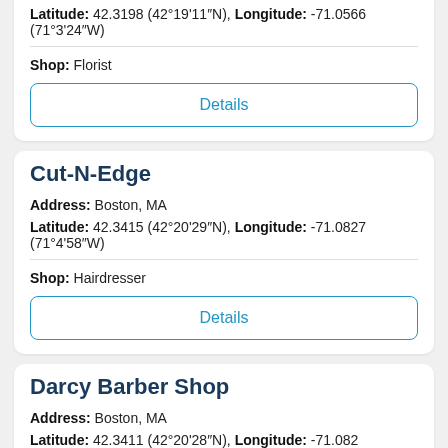Latitude: 42.3198 (42°19'11"N), Longitude: -71.0566 (71°3'24"W)
Shop: Florist
Details
Cut-N-Edge
Address: Boston, MA
Latitude: 42.3415 (42°20'29"N), Longitude: -71.0827 (71°4'58"W)
Shop: Hairdresser
Details
Darcy Barber Shop
Address: Boston, MA
Latitude: 42.3411 (42°20'28"N), Longitude: -71.082 (71°4'55"W)
Phone: (617) 424-5500